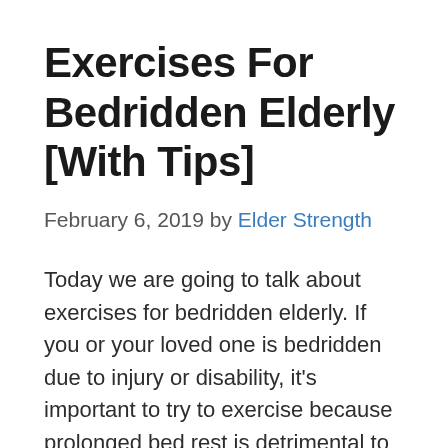Exercises For Bedridden Elderly [With Tips]
February 6, 2019 by Elder Strength
Today we are going to talk about exercises for bedridden elderly. If you or your loved one is bedridden due to injury or disability, it’s important to try to exercise because prolonged bed rest is detrimental to your health in old age.
There are many reasons one might end up bedridden for a long time. Common